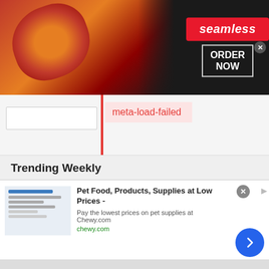[Figure (screenshot): Seamless food delivery advertisement banner with pizza image on left, red Seamless logo in center, ORDER NOW button on right, close X button, on dark background]
meta-load-failed
Trending Weekly
i Am Ur New Global Admin :D, Plz Don't Be Mad As I Been Asked, I Am here For Suppot And More To Make This A Better Place N Safe Too chat, Kind Words Slinky :D
about 2 hours ago
Anyone wanna be friends?
[Figure (screenshot): Chewy.com advertisement: Pet Food, Products, Supplies at Low Prices - Pay the lowest prices on pet supplies at Chewy.com with blue arrow button]